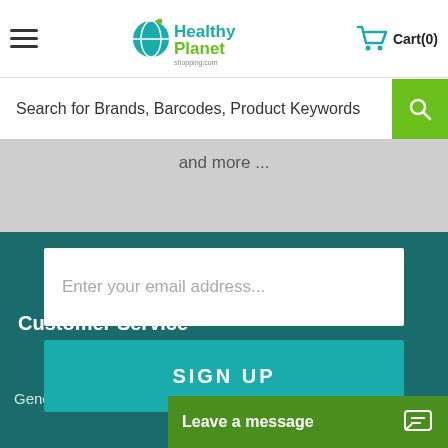HealthyPlanet Shopping - Cart(0)
Search for Brands, Barcodes, Product Keywords
and more ...
Enter your email address...
SIGN UP
Customer Service
General Informat
Leave a message